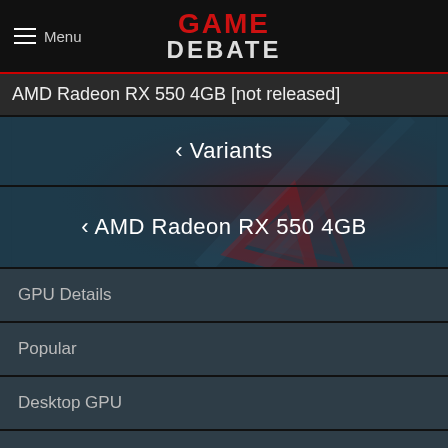Menu | GAME DEBATE
AMD Radeon RX 550 4GB [not released]
< Variants
< AMD Radeon RX 550 4GB
GPU Details
Popular
Desktop GPU
Laptop GPU
New GPU